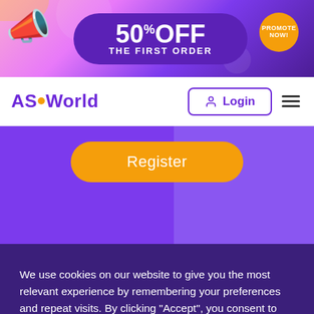[Figure (infographic): Promotional banner with megaphone graphic, '50% OFF THE FIRST ORDER' text in a purple pill shape, and 'PROMOTE NOW!' badge on yellow circle, pink/purple gradient background]
ASO World | Login | Menu
[Figure (infographic): Purple hero section with a gold/yellow 'Register' button centered]
Categories
We use cookies on our website to give you the most relevant experience by remembering your preferences and repeat visits. By clicking "Accept", you consent to the use of ALL the cookies.
ACCEPT